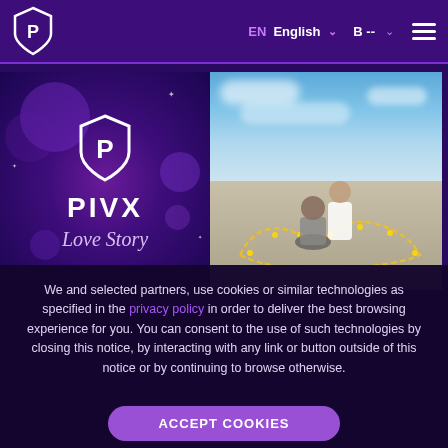PIVX — EN English — B -- — hamburger menu
[Figure (screenshot): Left panel: PIVX logo (shield with P) and brand name 'PIVX' with italic text 'Love Story' on dark purple bokeh background. Right panel: Romantic photo of couple kneeling on beach/salt flat with string lights forming heart shape, sunset sky.]
We and selected partners, use cookies or similar technologies as specified in the privacy policy in order to deliver the best browsing experience for you. You can consent to the use of such technologies by closing this notice, by interacting with any link or button outside of this notice or by continuing to browse otherwise.
ACCEPT COOKIES